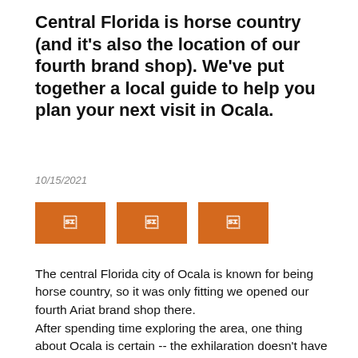Central Florida is horse country (and it's also the location of our fourth brand shop). We've put together a local guide to help you plan your next visit in Ocala.
10/15/2021
[Figure (other): Three orange social share / icon buttons in a row]
The central Florida city of Ocala is known for being horse country, so it was only fitting we opened our fourth Ariat brand shop there.
After spending time exploring the area, one thing about Ocala is certain -- the exhilaration doesn't have to end once you leave the arena or show grounds. We wanted some local insight on what to do in Ocala-Marion